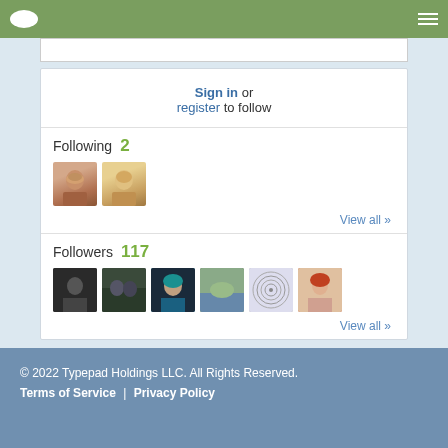Typepad navigation header with logo and hamburger menu
Sign in or register to follow
Following 2
View all »
Followers 117
View all »
0 Favorites
© 2022 Typepad Holdings LLC. All Rights Reserved. Terms of Service | Privacy Policy